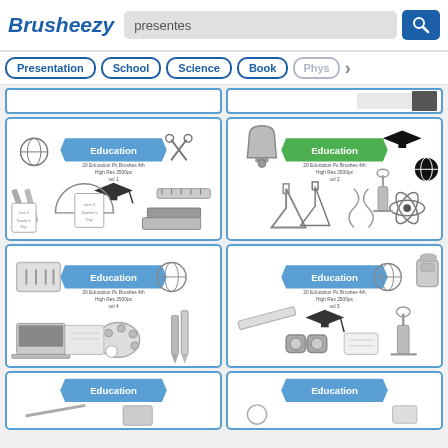Brusheezy — presentes [search bar with magnifier button]
Presentation
School
Science
Book
Phys… (truncated, with right arrow)
[Figure (illustration): Education brush set vol 1 – grayscale clip art of school items: globe, graduation cap, scissors, rulers, pencils, Teacher's Day notebook, books, protractor, backpack]
[Figure (illustration): Education brush set vol 2 – grayscale clip art: bell, graduation cap with green banner, chemistry flasks, DNA, atom, microscope, ruler, beakers, globe icon]
[Figure (illustration): Education brush set vol 4 – grayscale clip art: laptop, art palette, globe, pencils, books, magnifying glass, compass set, note]
[Figure (illustration): Education brush set vol 5 – grayscale clip art: graduation cap, binoculars, microscope, ruler, clock, backpack, diploma, globe, compasses]
[Figure (illustration): Education brush set vol 6 – partial view at bottom, grayscale clip art with blue banner]
[Figure (illustration): Education brush set vol 7 – partial view at bottom, grayscale clip art with blue banner]